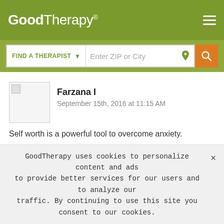GoodTherapy®
[Figure (screenshot): Search bar with 'FIND A THERAPIST' dropdown and 'Enter ZIP or City' input with location icon and orange search button]
Farzana I
September 15th, 2016 at 11:15 AM
Self worth is a powerful tool to overcome anxiety.
Reply
Madeline
December 8th, 2016 at 5:56 PM
Thank you so much. I feel like no one understands how I've felt for...
GoodTherapy uses cookies to personalize content and ads to provide better services for our users and to analyze our traffic. By continuing to use this site you consent to our cookies.